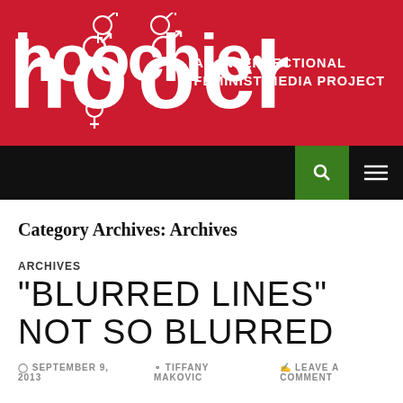[Figure (logo): Hoochie logo on red background with text 'AN INTERSECTIONAL FEMINIST MEDIA PROJECT']
[Figure (other): Black navigation bar with green search icon and hamburger menu icon]
Category Archives: Archives
ARCHIVES
“BLURRED LINES” NOT SO BLURRED
SEPTEMBER 9, 2013   TIFFANY MAKOVIC   LEAVE A COMMENT